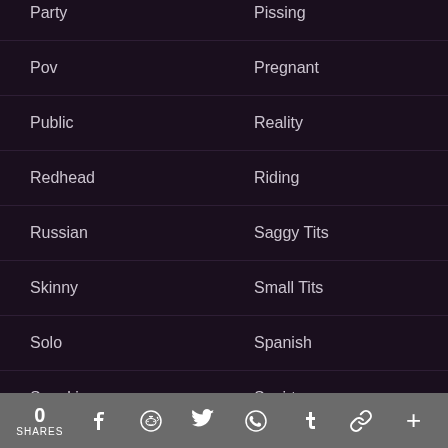Party
Pissing
Pov
Pregnant
Public
Reality
Redhead
Riding
Russian
Saggy Tits
Skinny
Small Tits
Solo
Spanish
Spanking
Squirt
Stockings
Strapon
Swinger
Tattoo
0 SHARES